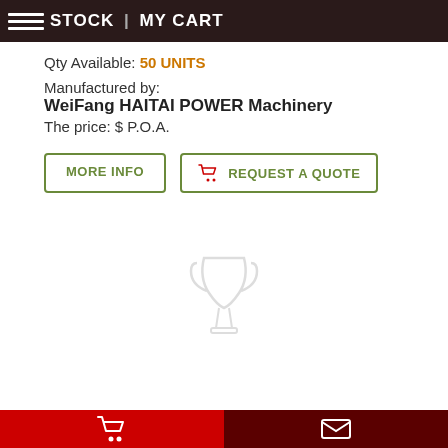STOCK | MY CART
Qty Available: 50 UNITS
Manufactured by:
WeiFang HAITAI POWER Machinery
The price: $ P.O.A.
[Figure (screenshot): Two buttons: MORE INFO and REQUEST A QUOTE with shopping cart icon]
[Figure (logo): Faint trophy/cup watermark logo in center of page]
Footer with shopping cart icon (red) and envelope icon (dark red)